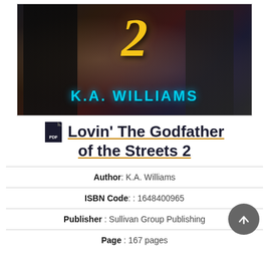[Figure (illustration): Book cover for 'Lovin' The Godfather of the Streets 2' by K.A. Williams, showing a dark urban scene with figures, a large golden number 2, and the author's name in cyan text at the bottom.]
Lovin' The Godfather of the Streets 2
Author: K.A. Williams
ISBN Code: : 1648400965
Publisher : Sullivan Group Publishing
Page : 167 pages